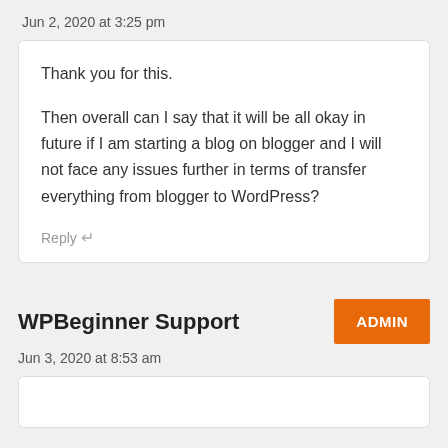Jun 2, 2020 at 3:25 pm
Thank you for this.

Then overall can I say that it will be all okay in future if I am starting a blog on blogger and I will not face any issues further in terms of transfer everything from blogger to WordPress?
Reply ↵
WPBeginner Support
ADMIN
Jun 3, 2020 at 8:53 am